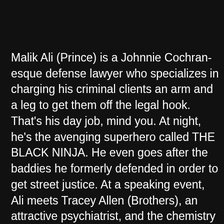Malik Ali (Prince) is a Johnnie Cochran-esque defense lawyer who specializes in charging his criminal clients an arm and a leg to get them off the legal hook. That's his day job, mind you. At night, he's the avenging superhero called THE BLACK NINJA. He even goes after the baddies he formerly defended in order to get street justice. At a speaking event, Ali meets Tracey Allen (Brothers), an attractive psychiatrist, and the chemistry is immediate. The only roadblock to their blossoming relationship is the fact that she's a witness in the upcoming trial of mobster Tony Fanelli (DeMatteo), and Fanelli commands his goons to have her rubbed out. So Ali/The Black Ninja is going to have to protect her with all he's got. Compounding Ali's already-complicated situation is the fact that Hagiwara (Matsuzaki), a red ninja, has